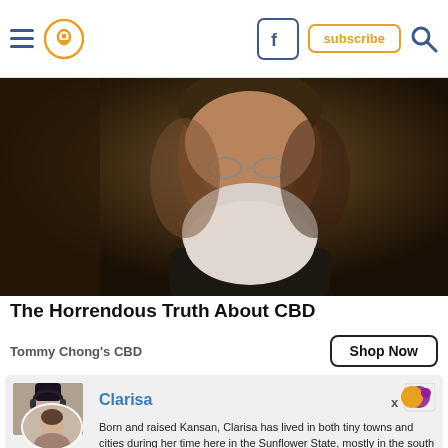Navigation bar with hamburger menu, location pin icon, Facebook icon, subscribe button, search icon
[Figure (photo): Close-up photo of an older man with white beard and glasses, dark background]
The Horrendous Truth About CBD
Tommy Chong's CBD
Shop Now
Clarisa
[Figure (photo): Profile photo of Clarisa, a young woman with dark hair and headphones]
Born and raised Kansan, Clarisa has lived in both tiny towns and cities during her time here in the Sunflower State, mostly in the south central area. Clarisa is a stay-at-home mother of one crazy kid, two cats, and two geckos, and has